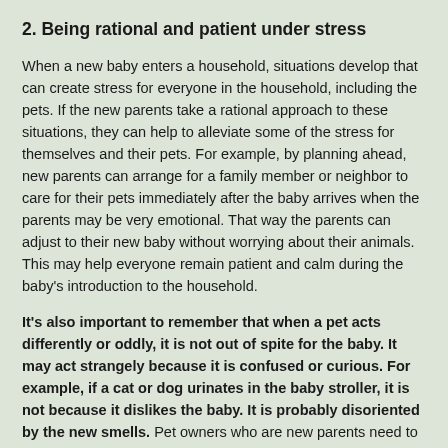2. Being rational and patient under stress
When a new baby enters a household, situations develop that can create stress for everyone in the household, including the pets. If the new parents take a rational approach to these situations, they can help to alleviate some of the stress for themselves and their pets. For example, by planning ahead, new parents can arrange for a family member or neighbor to care for their pets immediately after the baby arrives when the parents may be very emotional. That way the parents can adjust to their new baby without worrying about their animals. This may help everyone remain patient and calm during the baby's introduction to the household.
It's also important to remember that when a pet acts differently or oddly, it is not out of spite for the baby. It may act strangely because it is confused or curious. For example, if a cat or dog urinates in the baby stroller, it is not because it dislikes the baby. It is probably disoriented by the new smells. Pet owners who are new parents need to remain patient with their pets and train their